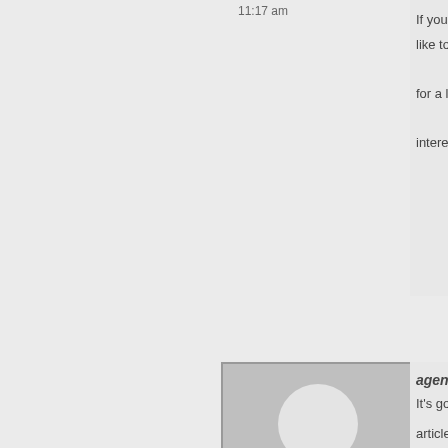11:17 am
If you like to for a l intere
[Figure (photo): Default user avatar - gray silhouette of a person on gray background]
April 19, 2022 at 12:26 pm
agen
It's go article
[Figure (photo): Default user avatar - gray silhouette of a person on gray background]
slots
My fa